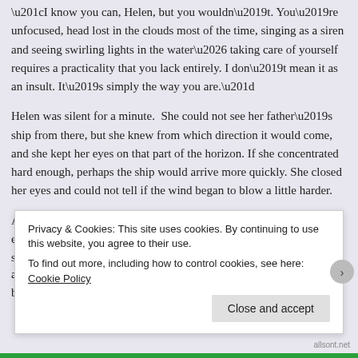“I know you can, Helen, but you wouldn’t. You’re unfocused, head lost in the clouds most of the time, singing as a siren and seeing swirling lights in the water… taking care of yourself requires a practicality that you lack entirely. I don’t mean it as an insult. It’s simply the way you are.”
Helen was silent for a minute.  She could not see her father’s ship from there, but she knew from which direction it would come, and she kept her eyes on that part of the horizon. If she concentrated hard enough, perhaps the ship would arrive more quickly. She closed her eyes and could not tell if the wind began to blow a little harder.
As it so often did, time proved Helen’s enemy. She spent the entire day in agony of waiting, constantly distressed to find that the sun had barely moved a… b…
Privacy & Cookies: This site uses cookies. By continuing to use this website, you agree to their use.
To find out more, including how to control cookies, see here: Cookie Policy
Close and accept